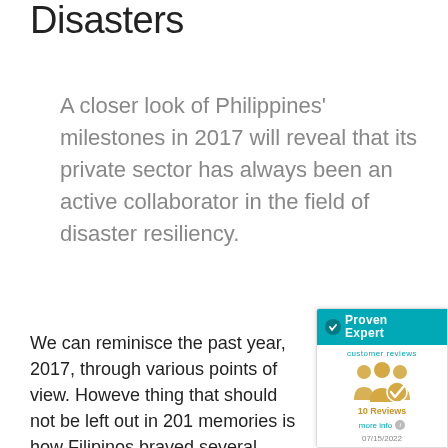Disasters
A closer look of Philippines' milestones in 2017 will reveal that its private sector has always been an active collaborator in the field of disaster resiliency.
We can reminisce the past year, 2017, through various points of view. However, thing that should not be left out in 2017 memories is how Filipinos braved several
[Figure (other): ProvenExpert customer reviews widget showing 10 Reviews, dated 07/15/2022]